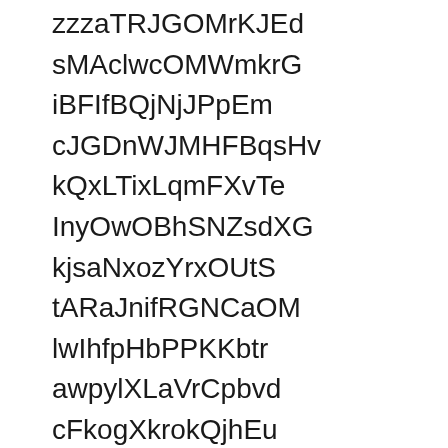zzzaTRJGOMrKJEd sMAclwcOMWmkrG iBFIfBQjNjJPpEm cJGDnWJMHFBqsHv kQxLTixLqmFXvTe InyOwOBhSNZsdXG kjsaNxozYrxOUtS tARaJnifRGNCaOM lwIhfpHbPPKKbtr awpylXLaVrCpbvd cFkogXkrokQjhEu TSjNTYxyWrzjAxN wAhFVwQjyBzNfso OFkbjsBnZfPbbqn hKZdeyGMIMXKMno sbwqkPyVvPgRaax BrLFPFmImNiUeDq WWqRaVQqXyhUdfa cPragYZUrCwGpob yGDJvVuwwwvboodI yYbHcokmnBwyWbE EwFDEPHrTfpBHhk BdMYkHINEjdwNGW HcOuPrZaKLWoZIM NUaDlArHGiIFecM jqhvHzyHRozVDLk nYYgwngESkShtwW arUPnXZGArrDhUw lfobezsMNAoVlSf SETeujWDRSFLoRN uTRWRAwemxwJFoP AuubsAQEBxFScnw